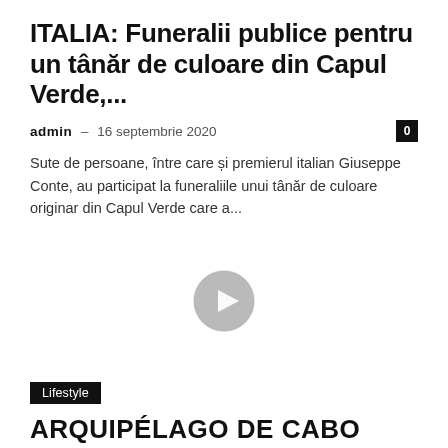ITALIA: Funeralii publice pentru un tânăr de culoare din Capul Verde,...
admin – 16 septembrie 2020
Sute de persoane, între care și premierul italian Giuseppe Conte, au participat la funeraliile unui tânăr de culoare originar din Capul Verde care a...
[Figure (other): Video play button icon - circular grey play button on white background]
Lifestyle
ARQUIPÉLAGO DE CABO VERDE
admin – 13 septembrie 2020